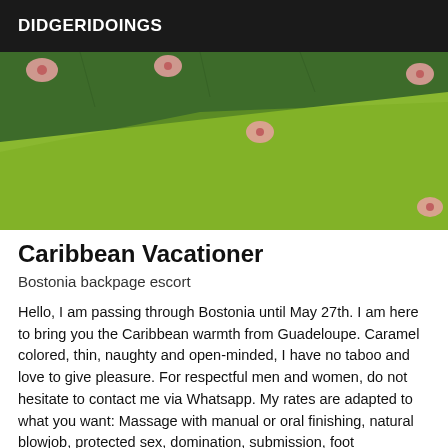DIDGERIDOINGS
[Figure (photo): Overhead view of grass lawn with pink flower decorations, showing two tones of green grass meeting diagonally]
Caribbean Vacationer
Bostonia backpage escort
Hello, I am passing through Bostonia until May 27th. I am here to bring you the Caribbean warmth from Guadeloupe. Caramel colored, thin, naughty and open-minded, I have no taboo and love to give pleasure. For respectful men and women, do not hesitate to contact me via Whatsapp. My rates are adapted to what you want: Massage with manual or oral finishing, natural blowjob, protected sex, domination, submission, foot